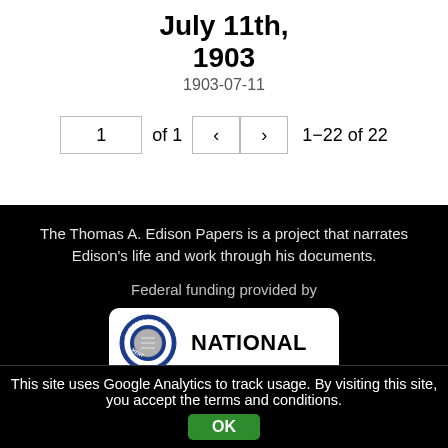July 11th, 1903
1903-07-11
1  of 1  ‹  ›  1–22 of 22
The Thomas A. Edison Papers is a project that narrates Edison's life and work through his documents.
Federal funding provided by
[Figure (logo): National Endowment for the Humanities logo — circular blue seal on left, 'NATIONAL' text on right, white background with rounded rectangle border]
This site uses Google Analytics to track usage. By visiting this site, you accept the terms and conditions.
OK